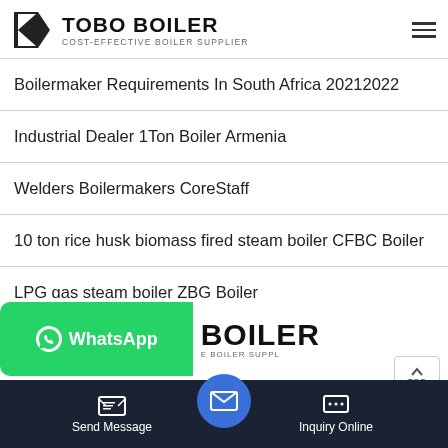[Figure (logo): TOBO BOILER logo with icon and text 'COST-EFFECTIVE BOILER SUPPLIER']
Boilermaker Requirements In South Africa 20212022
Industrial Dealer 1Ton Boiler Armenia
Welders Boilermakers CoreStaff
10 ton rice husk biomass fired steam boiler CFBC Boiler
LPG gas steam boiler ZBG Boiler
2tier Double BoilerPorringer David Mellor
[Figure (screenshot): WhatsApp button (green) alongside TOBO BOILER footer logo]
Send Message | Inquiry Online